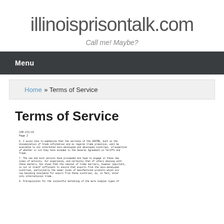illinoisprisontalk.com
Call me! Maybe?
Menu
Home » Terms of Service
Terms of Service
[Figure (screenshot): Scanned document page showing Terms of Service text content with numbered paragraphs discussing trade information dissemination, less-developed countries, and prerequisites for marketing manufactured goods.]